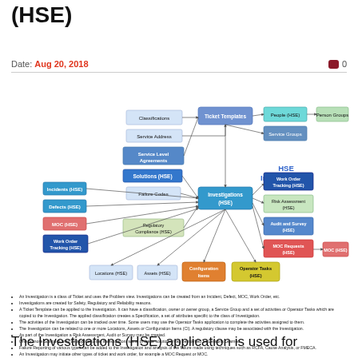(HSE)
Date: Aug 20, 2018   0
[Figure (flowchart): HSE Investigations flowchart showing relationships between Classifications, Service Address, Service Level Agreements, Solutions (HSE), Failure Codes, Regulatory Compliance (HSE), Ticket Templates, Investigations (HSE), People (HSE), Person Groups, Service Groups, Work Order Tracking (HSE), Risk Assessment (HSE), Audit and Survey (HSE), MOC Requests (HSE), MOC (HSE), Incidents (HSE), Defects (HSE), MOC (HSE), Work Order Tracking (HSE), Locations (HSE), Assets (HSE), Configuration Items, Operator Tasks (HSE)]
An Investigation is a class of Ticket and uses the Problem view. Investigations can be created from an Incident, Defect, MOC, Work Order, etc.
Investigations are created for Safety, Regulatory and Reliability reasons.
A Ticket Template can be applied to the Investigation. It can have a classification, owner or owner group, a Service Group and a set of activities or Operator Tasks which are copied to the Investigation. The applied classification creates a Specification, a set of attributes specific to the class of Investigation.
The activities of the Investigation can be tracked over time. Some users may use the Operator Tasks application to complete the activities assigned to them.
The Investigation can be related to one or more Locations, Assets or Configuration Items (CI). A regulatory clause may be associated with the Investigation.
As part of the Investigation a Risk Assessment, Audit or Survey may be created.
One or more Solutions may be applied to the Investigation, some of these solutions may be marked as Lessons Learned.
Failure Reporting of various types can be added to the Investigation and analysis of the failure made using techniques such as RCFA, Cause Analysis, or FMECA.
An Investigation may initiate other types of ticket and work order, for example a MOC Request or MOC.
The Investigations (HSE) application is used for